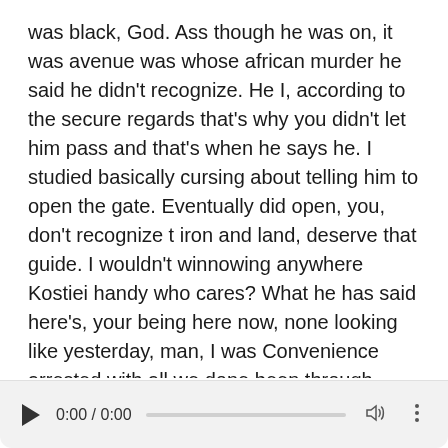was black, God. Ass though he was on, it was avenue was whose african murder he said he didn't recognize. He I, according to the secure regards that's why you didn't let him pass and that's when he says he. I studied basically cursing about telling him to open the gate. Eventually did open, you, don't recognize t iron and land, deserve that guide. I wouldn't winnowing anywhere Kostiei handy who cares? What he has said here's, your being here now, none looking like yesterday, man, I was Convenience arrested with all we done been through. This has small potatoes man, majors birthday, I'm here present at school ain't been to sleep, but guess what God is good
I'm glad you're, not on probation of Verona, could ever be a revision of rural violation re while he was released without